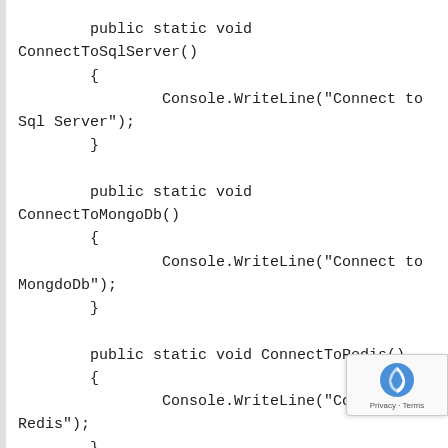public static void ConnectToSqlServer()
        {
                Console.WriteLine("Connect to Sql Server");
        }

        public static void ConnectToMongoDb()
        {
                Console.WriteLine("Connect to MongdoDb");
        }

        public static void ConnectToRedis()
        {
                Console.WriteLine("Connect to Redis");
        }

        public static void ConnectToXml()
        {
                Console.WriteLine("Connect to Xml");